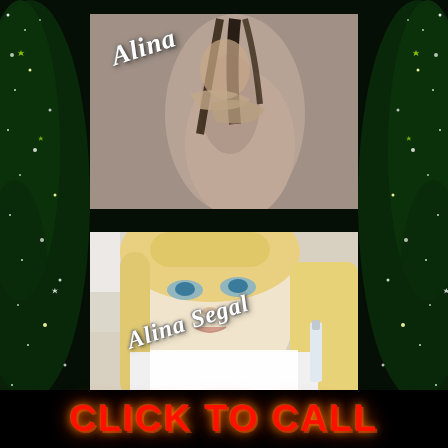[Figure (photo): Two photos of women on a dark green starry background. Top photo shows a woman in a pink/beige bodycon dress. Bottom photo shows a blonde woman in a white outfit. Both photos have the name 'Alina Segal' overlaid in white italic script.]
Alina
Alina Segal
CLICK TO CALL